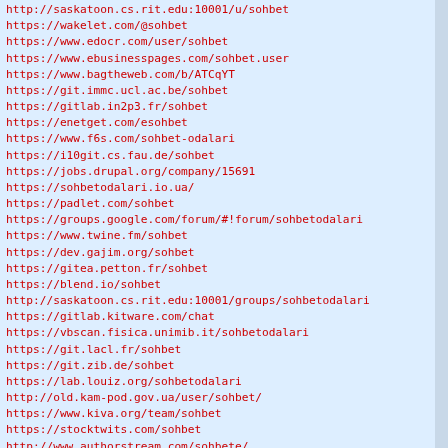http://saskatoon.cs.rit.edu:10001/u/sohbet
https://wakelet.com/@sohbet
https://www.edocr.com/user/sohbet
https://www.ebusinesspages.com/sohbet.user
https://www.bagtheweb.com/b/ATCqYT
https://git.immc.ucl.ac.be/sohbet
https://gitlab.in2p3.fr/sohbet
https://enetget.com/esohbet
https://www.f6s.com/sohbet-odalari
https://i10git.cs.fau.de/sohbet
https://jobs.drupal.org/company/15691
https://sohbetodalari.io.ua/
https://padlet.com/sohbet
https://groups.google.com/forum/#!forum/sohbetodalari
https://www.twine.fm/sohbet
https://dev.gajim.org/sohbet
https://gitea.petton.fr/sohbet
https://blend.io/sohbet
http://saskatoon.cs.rit.edu:10001/groups/sohbetodalari
https://gitlab.kitware.com/chat
https://vbscan.fisica.unimib.it/sohbetodalari
https://git.lacl.fr/sohbet
https://git.zib.de/sohbet
https://lab.louiz.org/sohbetodalari
http://old.kam-pod.gov.ua/user/sohbet/
https://www.kiva.org/team/sohbet
https://stocktwits.com/sohbet
http://www.authorstream.com/sohbete/
https://wanelo.co/sohbetodalari
https://try.gitea.io/sohbetodalari